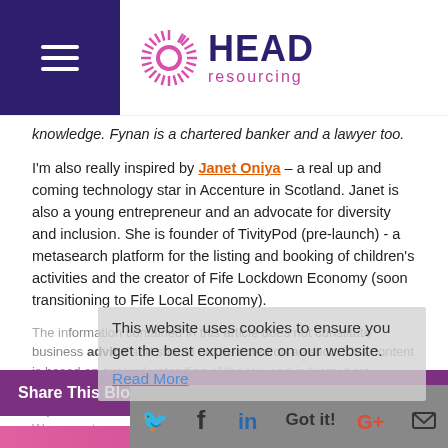HEAD resourcing
knowledge. Fynan is a chartered banker and a lawyer too.
I'm also really inspired by Janet Oniya – a real up and coming technology star in Accenture in Scotland. Janet is also a young entrepreneur and an advocate for diversity and inclusion. She is founder of TivityPod (pre-launch) - a metasearch platform for the listing and booking of children's activities and the creator of Fife Lockdown Economy (soon transitioning to Fife Local Economy).
The information contained in this article does not constitute business advice and should not be acted on as such. This content is based on our understanding of the law and industry best practice at the time of writing. We recommend you always verify any information with the appropriate regulatory body before acting. We are not responsible for any information contained on any third party websites linked to this article.
This website uses cookies to ensure you get the best experience on our website.
Read More
Share This Blog
Got it!